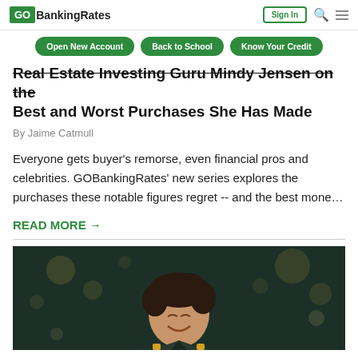GOBankingRates
Open New Account | Back to School | Know Your Credit
Real Estate Investing Guru Mindy Jensen on the Best and Worst Purchases She Has Made
By Jaime Catmull
Everyone gets buyer's remorse, even financial pros and celebrities. GOBankingRates' new series explores the purchases these notable figures regret -- and the best mone…
READ MORE →
[Figure (photo): A smiling man with curly dark hair photographed against a dark background with bokeh lights]